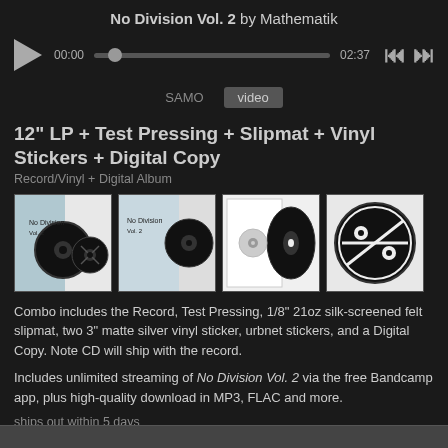No Division Vol. 2 by Mathematik
[Figure (other): Audio player bar with play button, time display 00:00, progress slider, end time 02:37, and skip buttons]
SAMO   video
12" LP + Test Pressing + Slipmat + Vinyl Stickers + Digital Copy
Record/Vinyl + Digital Album
[Figure (photo): Four product thumbnail images: album front cover, album with vinyl, white sleeve with vinyl, and logo sticker]
Combo includes the Record, Test Pressing, 1/8" 21oz silk-screened felt slipmat, two 3" matte silver vinyl sticker, urbnet stickers, and a Digital Copy. Note CD will ship with the record.
Includes unlimited streaming of No Division Vol. 2 via the free Bandcamp app, plus high-quality download in MP3, FLAC and more.
ships out within 5 days
1 remaining